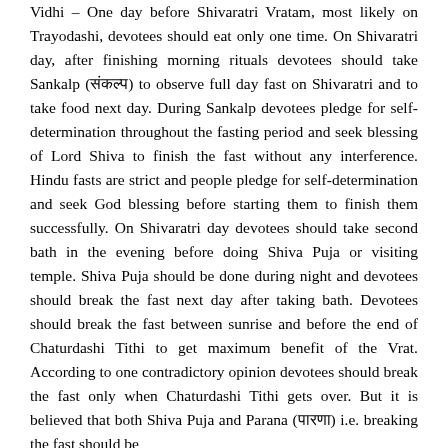Vidhi – One day before Shivaratri Vratam, most likely on Trayodashi, devotees should eat only one time. On Shivaratri day, after finishing morning rituals devotees should take Sankalp (संकल्प) to observe full day fast on Shivaratri and to take food next day. During Sankalp devotees pledge for self-determination throughout the fasting period and seek blessing of Lord Shiva to finish the fast without any interference. Hindu fasts are strict and people pledge for self-determination and seek God blessing before starting them to finish them successfully. On Shivaratri day devotees should take second bath in the evening before doing Shiva Puja or visiting temple. Shiva Puja should be done during night and devotees should break the fast next day after taking bath. Devotees should break the fast between sunrise and before the end of Chaturdashi Tithi to get maximum benefit of the Vrat. According to one contradictory opinion devotees should break the fast only when Chaturdashi Tithi gets over. But it is believed that both Shiva Puja and Parana (पारणा) i.e. breaking the fast should be